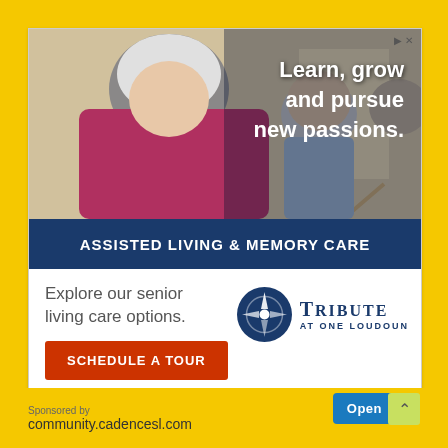[Figure (photo): Advertisement image showing elderly woman painting at an easel with others in background, text overlay reads 'Learn, grow and pursue new passions.' with dark blue banner 'ASSISTED LIVING & MEMORY CARE']
Explore our senior living care options.
SCHEDULE A TOUR
[Figure (logo): Tribute At One Loudoun logo with circular emblem in dark blue]
Sponsored by
community.cadencesl.com